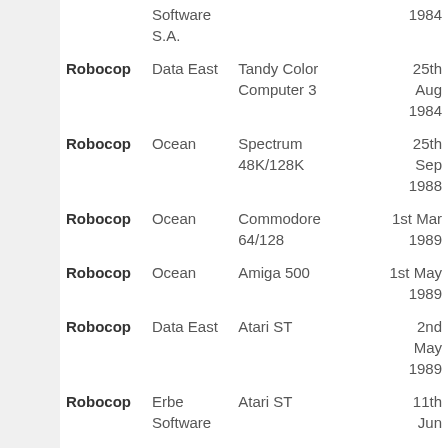| Game | Publisher | Platform | Date |
| --- | --- | --- | --- |
|  | Software S.A. |  | 1984 |
| Robocop | Data East | Tandy Color Computer 3 | 25th Aug 1984 |
| Robocop | Ocean | Spectrum 48K/128K | 25th Sep 1988 |
| Robocop | Ocean | Commodore 64/128 | 1st Mar 1989 |
| Robocop | Ocean | Amiga 500 | 1st May 1989 |
| Robocop | Data East | Atari ST | 2nd May 1989 |
| Robocop | Erbe Software | Atari ST | 11th Jun |